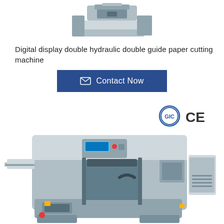[Figure (photo): Top partial view of a paper cutting machine (guillotine cutter), gray and blue industrial machine, partially cropped at top of page]
Digital display double hydraulic double guide paper cutting machine
[Figure (other): Blue rectangular Contact Now button with envelope/mail icon on the left side]
[Figure (photo): Full view of a large industrial digital display double hydraulic double guide paper cutting machine in gray/blue color with GIC and CE certification logos in upper right corner]